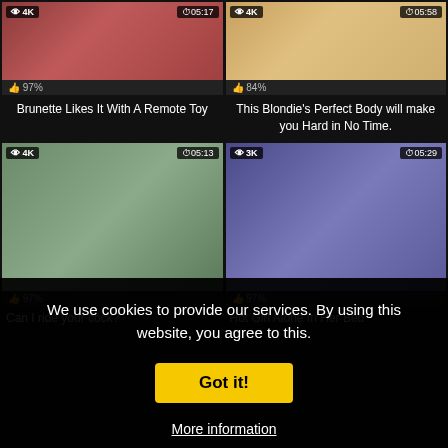[Figure (screenshot): Video thumbnail top-left: 4K badge, 05:17 duration, 97% likes, title: Brunette Likes It With A Remote Toy]
Brunette Likes It With A Remote Toy
[Figure (screenshot): Video thumbnail top-right: 4K badge, 05:58 duration, 84% likes, title: This Blondie's Perfect Body will make you Hard in No Time.]
This Blondie’s Perfect Body will make you Hard in No Time.
[Figure (screenshot): Video thumbnail bottom-left: 4K badge, 05:13 duration, 97% likes, title: Can I ride your cock?]
Can I ride your cock?
[Figure (screenshot): Video thumbnail bottom-right: 3K badge, 05:29 duration, 97% likes, title: Hot Girl Alone In Her Bed]
Hot Girl Alone In Her Bed
We use cookies to provide our services. By using this website, you agree to this.
Got it!
More information